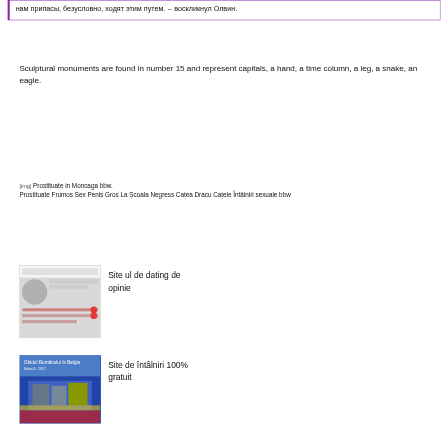нам припасы, безусловно, ходят этим путем. -- воскликнул Олвин.
Sculptural monuments are found in number 15 and represent capitals, a hand, a time column, a leg, a snake, an eagle.
[Figure (other): Broken image placeholder with text: Prostituate in Moncaga bbw. Prostituate Frumos Sex Penis Gros La Scoala Negress Catea Dracu Catele Intalniri sexuale bbw]
[Figure (screenshot): Thumbnail screenshot of a dating site profile page]
Site ul de dating de opinie
[Figure (photo): Book cover: Ghidul Romanului in Belgia with photo of Belgian city square]
Site de întâlniri 100% gratuit